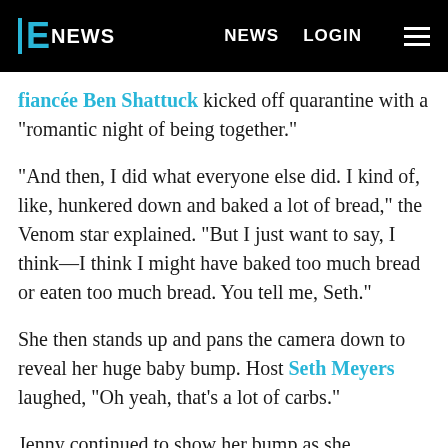E! NEWS | NEWS | LOGIN
fiancée Ben Shattuck kicked off quarantine with a "romantic night of being together."
"And then, I did what everyone else did. I kind of, like, hunkered down and baked a lot of bread," the Venom star explained. "But I just want to say, I think—I think I might have baked too much bread or eaten too much bread. You tell me, Seth."
She then stands up and pans the camera down to reveal her huge baby bump. Host Seth Meyers laughed, "Oh yeah, that's a lot of carbs."
Jenny continued to show her bump as she chuckled,